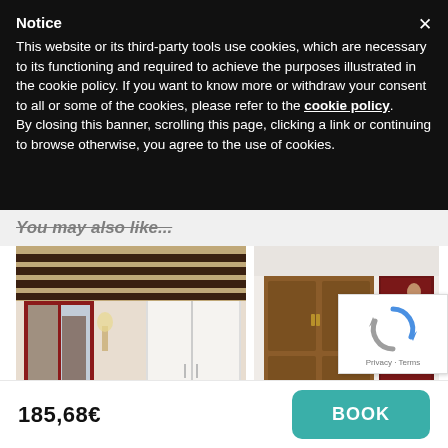Notice
This website or its third-party tools use cookies, which are necessary to its functioning and required to achieve the purposes illustrated in the cookie policy. If you want to know more or withdraw your consent to all or some of the cookies, please refer to the cookie policy.
By closing this banner, scrolling this page, clicking a link or continuing to browse otherwise, you agree to the use of cookies.
You may also like...
[Figure (photo): Interior photo of a room with white walls, dark wood ceiling beams, red-framed window and door, white wardrobe]
[Figure (photo): Interior photo of a room with a large wooden cabinet/armoire and dining area with glasses on table]
[Figure (logo): Google reCAPTCHA badge with spinning arrows logo and Privacy - Terms text]
185,68€
BOOK